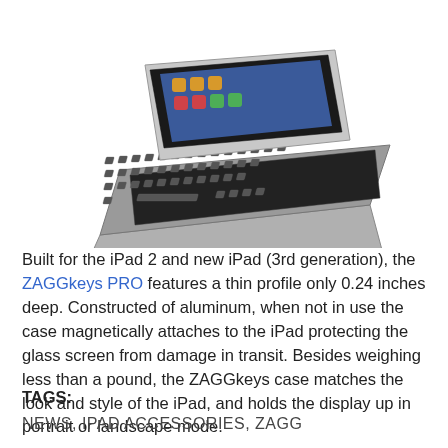[Figure (photo): ZAGGkeys PRO keyboard case for iPad 2 and new iPad (3rd generation), shown with the iPad propped up and the aluminum keyboard base in the foreground, viewed from a front-angled perspective.]
Built for the iPad 2 and new iPad (3rd generation), the ZAGGkeys PRO features a thin profile only 0.24 inches deep. Constructed of aluminum, when not in use the case magnetically attaches to the iPad protecting the glass screen from damage in transit. Besides weighing less than a pound, the ZAGGkeys case matches the look and style of the iPad, and holds the display up in portrait or landscape mode.
TAGS:
NEWS, IPAD ACCESSORIES, ZAGG